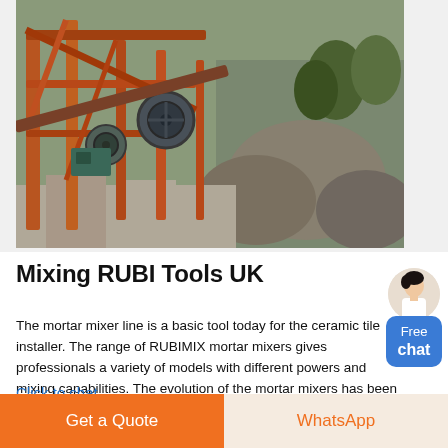[Figure (photo): Industrial mining/crushing equipment with rusty metal frame, conveyor structures and machinery on rocky terrain outdoors.]
Mixing RUBI Tools UK
The mortar mixer line is a basic tool today for the ceramic tile installer. The range of RUBIMIX mortar mixers gives professionals a variety of models with different powers and mixing capabilities. The evolution of the mortar mixers has been a constant target for improvement by RUBI.
Click to chat
Get a Quote
WhatsApp